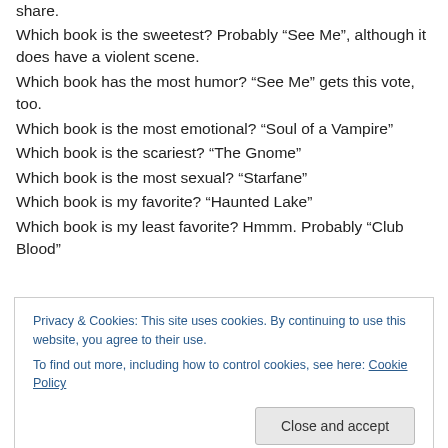share.
Which book is the sweetest? Probably “See Me”, although it does have a violent scene.
Which book has the most humor? “See Me” gets this vote, too.
Which book is the most emotional? “Soul of a Vampire”
Which book is the scariest? “The Gnome”
Which book is the most sexual? “Starfane”
Which book is my favorite? “Haunted Lake”
Which book is my least favorite? Hmmm. Probably “Club Blood”
Privacy & Cookies: This site uses cookies. By continuing to use this website, you agree to their use. To find out more, including how to control cookies, see here: Cookie Policy
Close and accept
Which book would I like to do a sequel to (not counting the